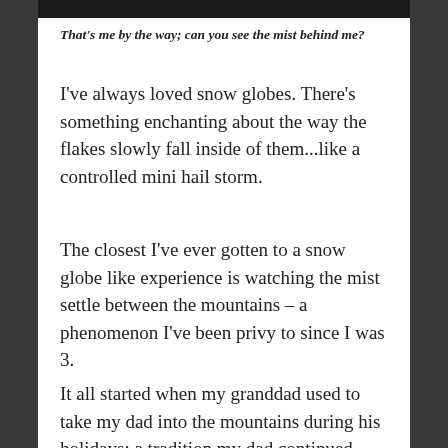[Figure (photo): Dark/black bar at the top of the page, partial photo]
That's me by the way; can you see the mist behind me?
I've always loved snow globes. There's something enchanting about the way the flakes slowly fall inside of them...like a controlled mini hail storm.
The closest I've ever gotten to a snow globe like experience is watching the mist settle between the mountains – a phenomenon I've been privy to since I was 3.
It all started when my granddad used to take my dad into the mountains during his holidays; a tradition my dad continued with